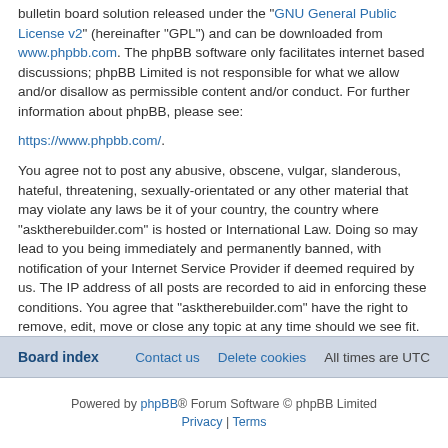bulletin board solution released under the "GNU General Public License v2" (hereinafter "GPL") and can be downloaded from www.phpbb.com. The phpBB software only facilitates internet based discussions; phpBB Limited is not responsible for what we allow and/or disallow as permissible content and/or conduct. For further information about phpBB, please see: https://www.phpbb.com/.
You agree not to post any abusive, obscene, vulgar, slanderous, hateful, threatening, sexually-orientated or any other material that may violate any laws be it of your country, the country where "asktherebuilder.com" is hosted or International Law. Doing so may lead to you being immediately and permanently banned, with notification of your Internet Service Provider if deemed required by us. The IP address of all posts are recorded to aid in enforcing these conditions. You agree that "asktherebuilder.com" have the right to remove, edit, move or close any topic at any time should we see fit. As a user you agree to any information you have entered to being stored in a database. While this information will not be disclosed to any third party without your consent, neither "asktherebuilder.com" nor phpBB shall be held responsible for any hacking attempt that may lead to the data being compromised.
Board index | Contact us | Delete cookies | All times are UTC | Powered by phpBB® Forum Software © phpBB Limited | Privacy | Terms